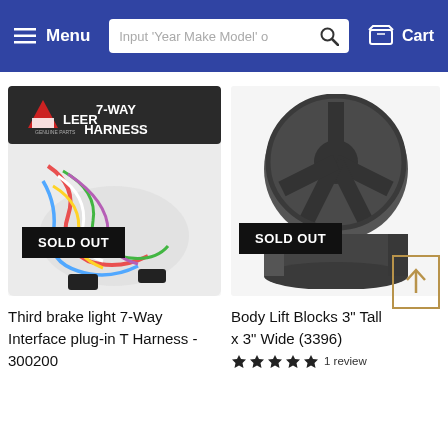Menu  |  Input 'Year Make Model' o [search]  |  Cart
[Figure (photo): Product photo: Leer 7-Way Harness in plastic packaging with colorful wires, overlaid with SOLD OUT badge]
[Figure (photo): Product photo: gray Body Lift Block cylindrical rubber part viewed from top, with SOLD OUT badge]
Third brake light 7-Way Interface plug-in T Harness - 300200
Body Lift Blocks 3" Tall x 3" Wide (3396)
1 review (star rating shown)